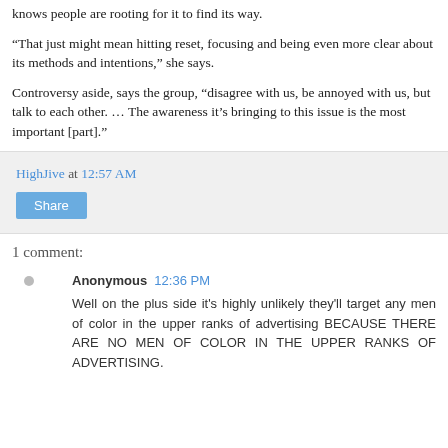knows people are rooting for it to find its way.
“That just might mean hitting reset, focusing and being even more clear about its methods and intentions,” she says.
Controversy aside, says the group, “disagree with us, be annoyed with us, but talk to each other. … The awareness it’s bringing to this issue is the most important [part].”
HighJive at 12:57 AM
Share
1 comment:
Anonymous 12:36 PM
Well on the plus side it's highly unlikely they'll target any men of color in the upper ranks of advertising BECAUSE THERE ARE NO MEN OF COLOR IN THE UPPER RANKS OF ADVERTISING.